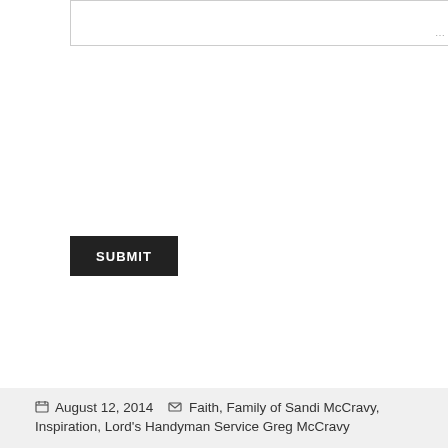[Figure (screenshot): Partial textarea input field with resize handle at bottom-right corner]
SUBMIT
August 12, 2014   Faith, Family of Sandi McCravy, Inspiration, Lord's Handyman Service Greg McCravy